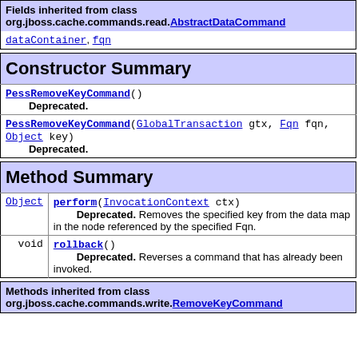| Fields inherited from class org.jboss.cache.commands.read.AbstractDataCommand |
| --- |
| dataContainer, fqn |
| Constructor Summary |
| --- |
| PessRemoveKeyCommand() | Deprecated. |
| PessRemoveKeyCommand(GlobalTransaction gtx, Fqn fqn, Object key) | Deprecated. |
| Method Summary |
| --- |
| Object | perform(InvocationContext ctx)
Deprecated. Removes the specified key from the data map in the node referenced by the specified Fqn. |
| void | rollback()
Deprecated. Reverses a command that has already been invoked. |
| Methods inherited from class org.jboss.cache.commands.write.RemoveKeyCommand |
| --- |